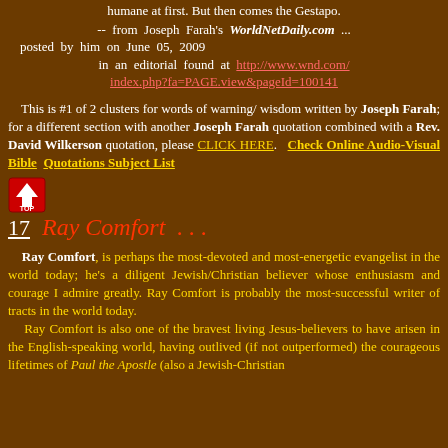humane at first. But then comes the Gestapo.
-- from Joseph Farah's WorldNetDaily.com ... posted by him on June 05, 2009 in an editorial found at http://www.wnd.com/index.php?fa=PAGE.view&pageId=100141
This is #1 of 2 clusters for words of warning/ wisdom written by Joseph Farah; for a different section with another Joseph Farah quotation combined with a Rev. David Wilkerson quotation, please CLICK HERE.  Check Online Audio-Visual Bible  Quotations Subject List
[Figure (other): Red TOP button/icon with upward arrow]
17  Ray Comfort . . .
Ray Comfort, is perhaps the most-devoted and most-energetic evangelist in the world today; he's a diligent Jewish/Christian believer whose enthusiasm and courage I admire greatly. Ray Comfort is probably the most-successful writer of tracts in the world today. Ray Comfort is also one of the bravest living Jesus-believers to have arisen in the English-speaking world, having outlived (if not outperformed) the courageous lifetimes of Paul the Apostle (also a Jewish-Christian